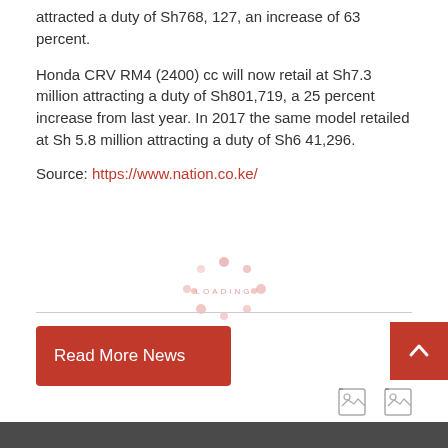attracted a duty of Sh768, 127, an increase of 63 percent.
Honda CRV RM4 (2400) cc will now retail at Sh7.3 million attracting a duty of Sh801,719, a 25 percent increase from last year. In 2017 the same model retailed at Sh 5.8 million attracting a duty of Sh6 41,296.
Source: https://www.nation.co.ke/
[Figure (other): Loading spinner animation overlay]
Read More News
[Figure (other): Scroll to top button with upward chevron]
[Figure (other): Two small image icons]